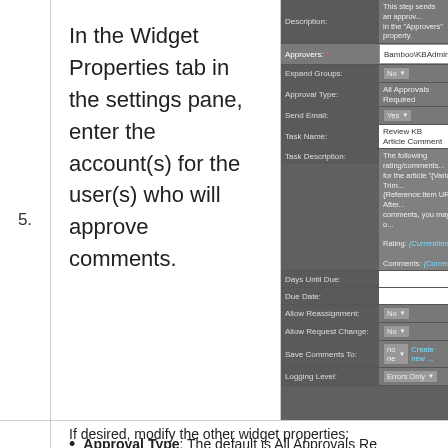5. In the Widget Properties tab in the settings pane, enter the account(s) for the user(s) who will approve comments.
[Figure (screenshot): Screenshot of widget properties form showing fields: Description, Approvers (filled with Bamboo\KBAdmin), Expand Groups (No), Approval Type (All Approvals Required), Send Email (Yes), Task Name (Review KB Article Comment), Task Description (The following rating/comments... Rating: {CurrentItem:Rating} Comments: {CurrentItem:Co...), Days Until Due, Due Date, Allow Reassignment (No), Allow Request Change (No), Save Comments To (none, Create new...), Logging Level (Errors Only)]
If desired, modify the other widget properties:
Approval Type: The default is All Approvals Re...